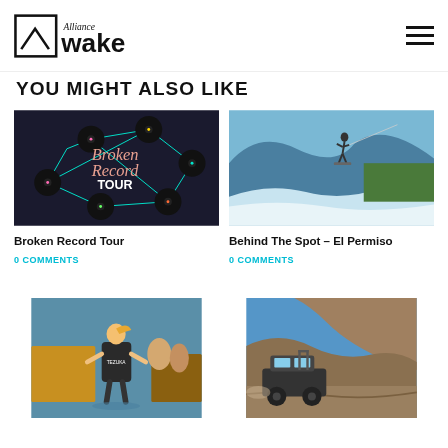Alliance Wake
YOU MIGHT ALSO LIKE
[Figure (photo): Broken Record Tour promotional graphic with vinyl records connected by neon lines on dark background]
Broken Record Tour
0 COMMENTS
[Figure (photo): Wakeboarder performing aerial trick over large wave]
Behind The Spot – El Permiso
0 COMMENTS
[Figure (photo): Female wakeboarder in vest on water with boat in background]
[Figure (photo): Off-road vehicle on rocky terrain near mountain hillside]